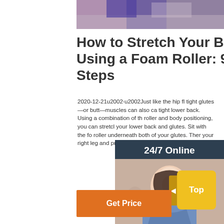[Figure (photo): Partial photo of a person on a yoga mat, cropped at top of page]
How to Stretch Your Back Using a Foam Roller: 9 Steps
2020-12-21u2002·u2002Just like the hip fl tight glutes—or butt—muscles can also ca tight lower back. Using a combination of th roller and body positioning, you can stretch your lower back and glutes. Sit with the fo roller underneath both of your glutes. Then your right leg and put your ankle over you knee.
[Figure (photo): 24/7 Online customer service representative - woman wearing headset smiling, with Click here for free chat and QUOTATION button]
Get Price
Top